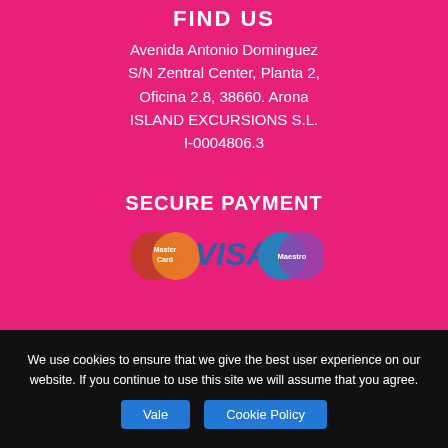FIND US
Avenida Antonio Dominguez S/N Zentral Center, Planta 2, Oficina 2.8, 38660. Arona
ISLAND EXCURSIONS S.L.
I-0004806.3
SECURE PAYMENT
[Figure (logo): Payment logos: MasterCard, VISA, Maestro]
We use cookies to ensure that we give the best user experience on our website. If you continue to use this site we will assume that you agree.
Vale    Cookie Policy